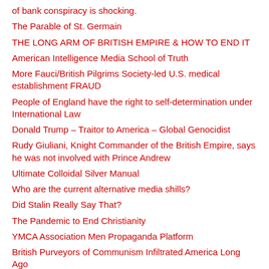of bank conspiracy is shocking.
The Parable of St. Germain
THE LONG ARM OF BRITISH EMPIRE & HOW TO END IT
American Intelligence Media School of Truth
More Fauci/British Pilgrims Society-led U.S. medical establishment FRAUD
People of England have the right to self-determination under International Law
Donald Trump – Traitor to America – Global Genocidist
Rudy Giuliani, Knight Commander of the British Empire, says he was not involved with Prince Andrew
Ultimate Colloidal Silver Manual
Who are the current alternative media shills?
Did Stalin Really Say That?
The Pandemic to End Christianity
YMCA Association Men Propaganda Platform
British Purveyors of Communism Infiltrated America Long Ago